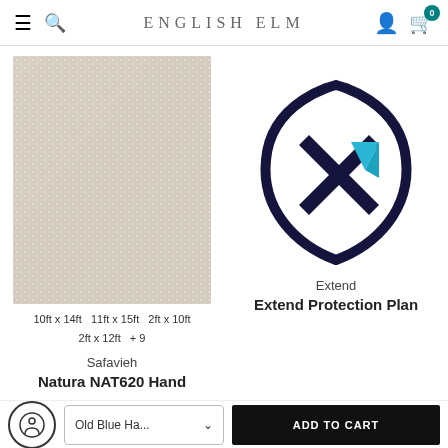ENGLISH ELM
[Figure (photo): Close-up texture photo of a cream/beige woven rug (Safavieh Natura NAT620)]
10ft x 14ft   11ft x 15ft   2ft x 10ft
2ft x 12ft   + 9
Safavieh
Natura NAT620 Hand
[Figure (logo): Extend protection plan logo: a dark navy shield outline with an X mark inside, with a teal/cyan accent on the X]
Extend
Extend Protection Plan
Old Blue Ha...
ADD TO CART